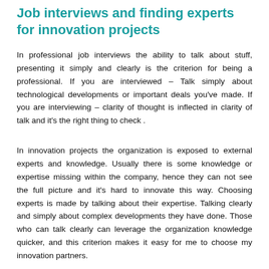Job interviews and finding experts for innovation projects
In professional job interviews the ability to talk about stuff, presenting it simply and clearly is the criterion for being a professional. If you are interviewed – Talk simply about technological developments or important deals you've made. If you are interviewing – clarity of thought is inflected in clarity of talk and it's the right thing to check .
In innovation projects the organization is exposed to external experts and knowledge. Usually there is some knowledge or expertise missing within the company, hence they can not see the full picture and it's hard to innovate this way. Choosing experts is made by talking about their expertise. Talking clearly and simply about complex developments they have done. Those who can talk clearly can leverage the organization knowledge quicker, and this criterion makes it easy for me to choose my innovation partners.